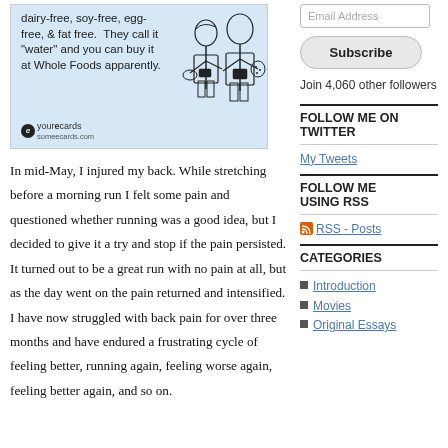[Figure (illustration): eCard image with light blue background showing two illustrated figures in aprons, with text about gluten-free, dairy-free, soy-free, egg-free & fat free product called 'water' available at Whole Foods, branded with yourEcards / someecards.com]
In mid-May, I injured my back. While stretching before a morning run I felt some pain and questioned whether running was a good idea, but I decided to give it a try and stop if the pain persisted. It turned out to be a great run with no pain at all, but as the day went on the pain returned and intensified. I have now struggled with back pain for over three months and have endured a frustrating cycle of feeling better, running again, feeling worse again, feeling better again, and so on.
Email Address
Subscribe
Join 4,060 other followers
FOLLOW ME ON TWITTER
My Tweets
FOLLOW ME USING RSS
RSS - Posts
CATEGORIES
Introduction
Movies
Original Essays